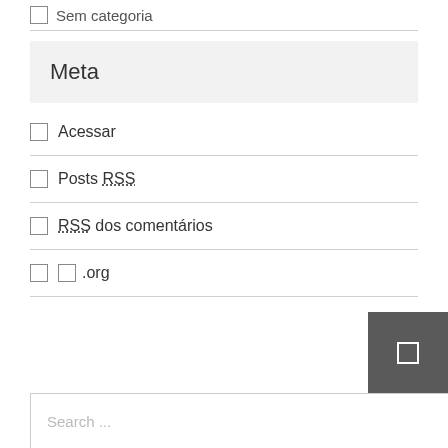Sem categoria
Meta
Acessar
Posts RSS
RSS dos comentários
.org
Search ...